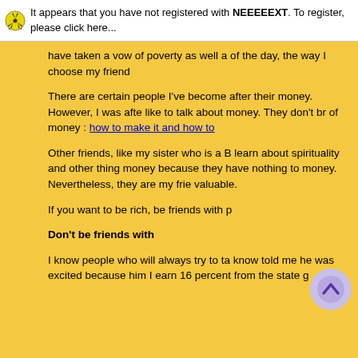It appears that you have not registered with NEEEEEXT. To register, please click here...
have taken a vow of poverty as well a of the day, the way I choose my friend
There are certain people I've become after their money. However, I was afte like to talk about money. They don't br of money : how to make it and how to
Other friends, like my sister who is a B learn about spirituality and other thing money because they have nothing to money. Nevertheless, they are my frie valuable.
If you want to be rich, be friends with p
Don't be friends with
I know people who will always try to ta know told me he was excited because him I earn 16 percent from the state g